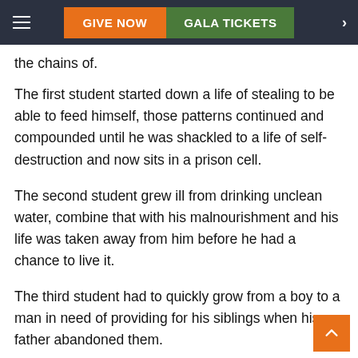GIVE NOW | GALA TICKETS
the chains of.
The first student started down a life of stealing to be able to feed himself, those patterns continued and compounded until he was shackled to a life of self-destruction and now sits in a prison cell.
The second student grew ill from drinking unclean water, combine that with his malnourishment and his life was taken away from him before he had a chance to live it.
The third student had to quickly grow from a boy to a man in need of providing for his siblings when his father abandoned them.